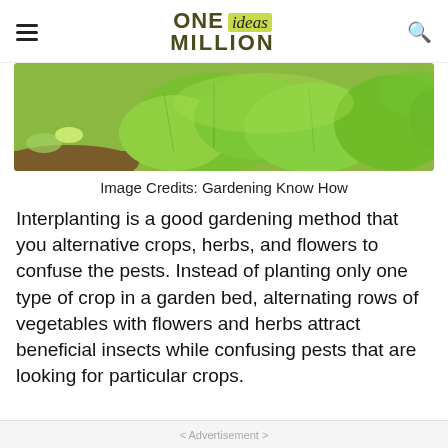ONE ideas MILLION
[Figure (photo): Close-up photo of green lettuce seedlings growing in garden soil]
Image Credits: Gardening Know How
Interplanting is a good gardening method that you alternative crops, herbs, and flowers to confuse the pests. Instead of planting only one type of crop in a garden bed, alternating rows of vegetables with flowers and herbs attract beneficial insects while confusing pests that are looking for particular crops.
< Advertisement >